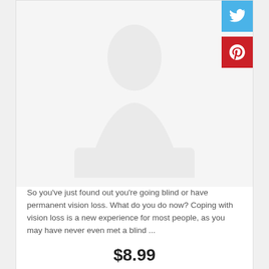[Figure (photo): Faded/watermarked background image of a person, partially visible]
[Figure (logo): Twitter bird logo icon on blue background]
[Figure (logo): Pinterest P logo icon on red background]
So you've just found out you're going blind or have permanent vision loss. What do you do now? Coping with vision loss is a new experience for most people, as you may have never even met a blind ...
$8.99
BUY IT NOW
DISABILITY
A Sports and Exercise Guide for People